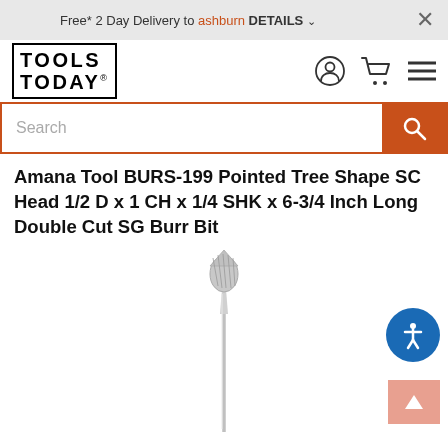Free* 2 Day Delivery to ashburn DETAILS
[Figure (logo): Tools Today logo - bold black text in bordered box]
Search
Amana Tool BURS-199 Pointed Tree Shape SC Head 1/2 D x 1 CH x 1/4 SHK x 6-3/4 Inch Long Double Cut SG Burr Bit
[Figure (photo): Amana Tool BURS-199 Pointed Tree Shape SC Head carbide burr bit - a long thin shank with a pointed tree-shaped cutting head at top, metallic silver color]